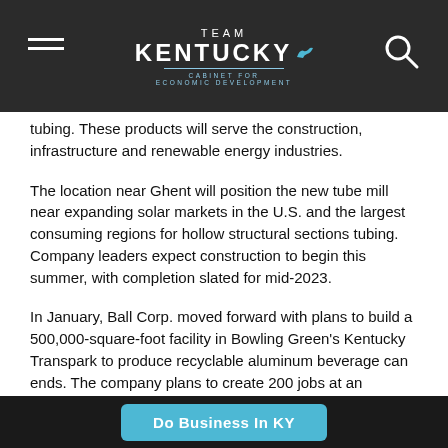TEAM KENTUCKY CABINET FOR ECONOMIC DEVELOPMENT
tubing. These products will serve the construction, infrastructure and renewable energy industries.
The location near Ghent will position the new tube mill near expanding solar markets in the U.S. and the largest consuming regions for hollow structural sections tubing. Company leaders expect construction to begin this summer, with completion slated for mid-2023.
In January, Ball Corp. moved forward with plans to build a 500,000-square-foot facility in Bowling Green's Kentucky Transpark to produce recyclable aluminum beverage can ends. The company plans to create 200 jobs at an average hourly wage of $45 including benefits.
The operation will be Ball's first in the state and will
Do Business In KY